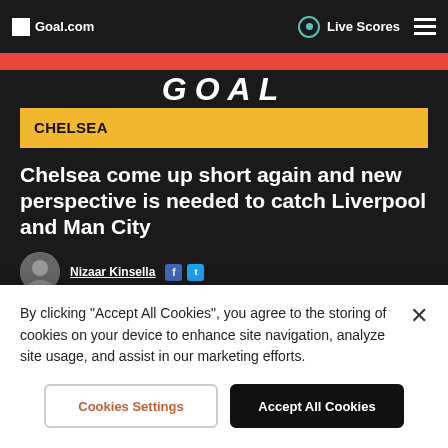Goal.com | Live Scores
GOAL
CHELSEA
Chelsea come up short again and new perspective is needed to catch Liverpool and Man City
Nizaar Kinsella
By clicking "Accept All Cookies", you agree to the storing of cookies on your device to enhance site navigation, analyze site usage, and assist in our marketing efforts.
Cookies Settings
Accept All Cookies